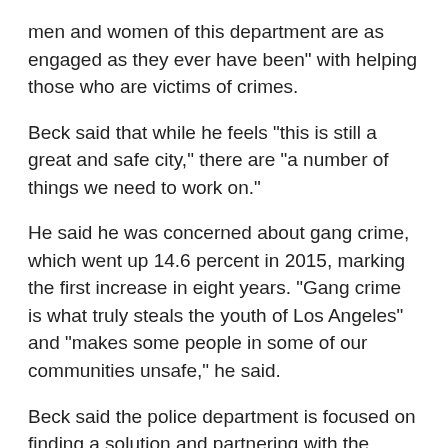men and women of this department are as engaged as they ever have been" with helping those who are victims of crimes.
Beck said that while he feels "this is still a great and safe city," there are "a number of things we need to work on."
He said he was concerned about gang crime, which went up 14.6 percent in 2015, marking the first increase in eight years. "Gang crime is what truly steals the youth of Los Angeles" and "makes some people in some of our communities unsafe," he said.
Beck said the police department is focused on finding a solution and partnering with the community, vowing that "we will make a difference." He added that "the